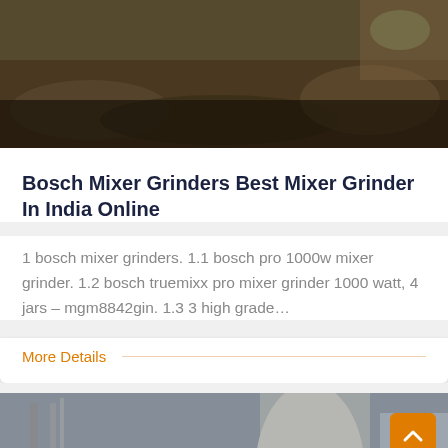[Figure (photo): Top photo showing dark soil/earth outdoor scene]
Bosch Mixer Grinders Best Mixer Grinder In India Online
1 bosch mixer grinders. 1.1 bosch pro 1000w mixer grinder. 1.2 bosch truemixx pro mixer grinder 1000 watt, 4 jars – mgm8842gin. 1.3 3 high grade…
More Details
[Figure (photo): Bottom photo showing industrial/outdoor scene with machinery and chat support bar overlay. Includes Leave Message and Chat Online buttons with agent avatar.]